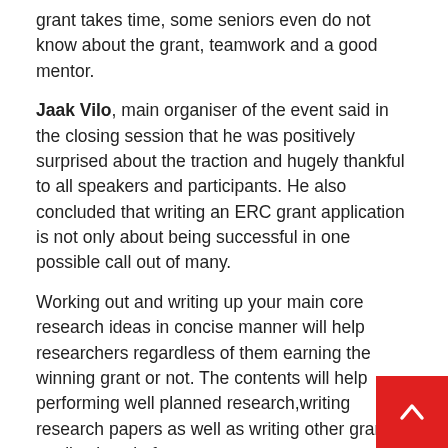grant takes time, some seniors even do not know about the grant, teamwork and a good mentor.
Jaak Vilo, main organiser of the event said in the closing session that he was positively surprised about the traction and hugely thankful to all speakers and participants. He also concluded that writing an ERC grant application is not only about being successful in one possible call out of many.
Working out and writing up your main core research ideas in concise manner will help researchers regardless of them earning the winning grant or not. The contents will help performing well planned research,writing research papers as well as writing other grant applications in future.
Participants' Feedback
Jane Klavan: If I had to choose only one keyword to describe the event it would be INSPIRING.